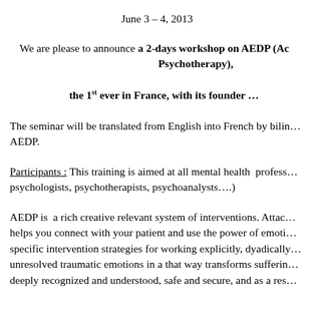June 3 – 4, 2013
We are please to announce a 2-days workshop on AEDP (Ac… Psychotherapy),
the 1st ever in France, with its founder …
The seminar will be translated from English into French by bilin… AEDP.
Participants : This training is aimed at all mental health profess… psychologists, psychotherapists, psychoanalysts….)
AEDP is a rich creative relevant system of interventions. Attach… helps you connect with your patient and use the power of emoti… specific intervention strategies for working explicitly, dyadically… unresolved traumatic emotions in a that way transforms sufferin… deeply recognized and understood, safe and secure, and as a res…